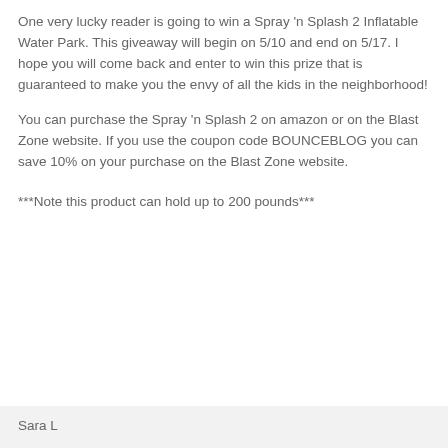One very lucky reader is going to win a Spray 'n Splash 2 Inflatable Water Park. This giveaway will begin on 5/10 and end on 5/17. I hope you will come back and enter to win this prize that is guaranteed to make you the envy of all the kids in the neighborhood!
You can purchase the Spray 'n Splash 2 on amazon or on the Blast Zone website. If you use the coupon code BOUNCEBLOG you can save 10% on your purchase on the Blast Zone website.
***Note this product can hold up to 200 pounds***
Sara L